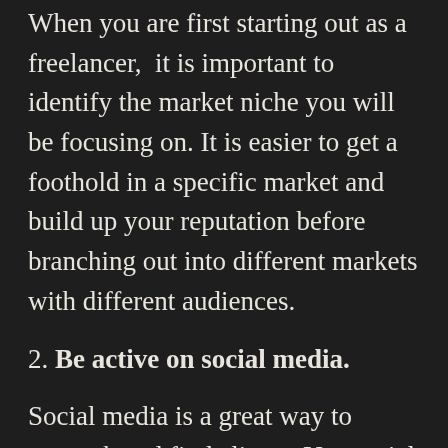When you are first starting out as a freelancer,  it is important to identify the market niche you will be focusing on. It is easier to get a foothold in a specific market and build up your reputation before branching out into different markets with different audiences.
2. Be active on social media.
Social media is a great way to network and find clients. Use social media to actively search for clients and keep up with new trends.